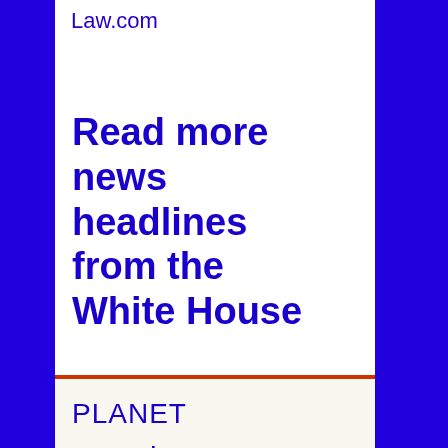Law.com
Read more news headlines from the White House
PLANET
Twelve earthquak…